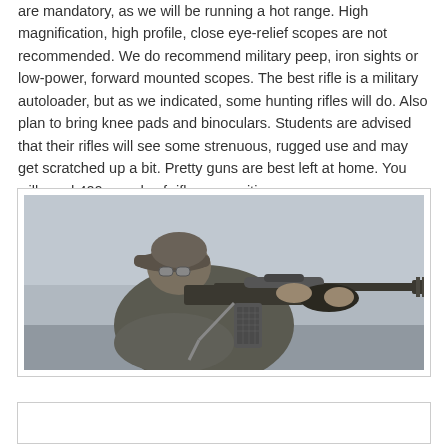are mandatory, as we will be running a hot range. High magnification, high profile, close eye-relief scopes are not recommended. We do recommend military peep, iron sights or low-power, forward mounted scopes. The best rifle is a military autoloader, but as we indicated, some hunting rifles will do. Also plan to bring knee pads and binoculars. Students are advised that their rifles will see some strenuous, rugged use and may get scratched up a bit. Pretty guns are best left at home. You will need 400 rounds of rifle ammunition.
[Figure (photo): Black and white photograph of a person wearing a cap and jacket, aiming a semi-automatic rifle with a scope and large magazine, viewed from the side against a light sky background.]